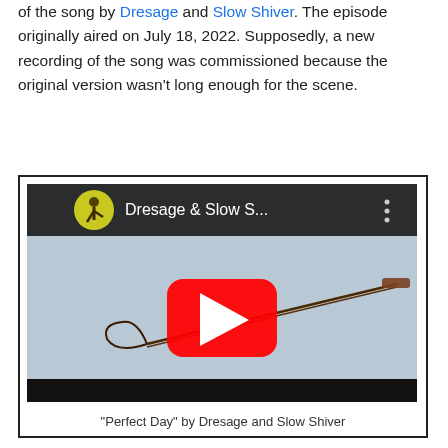of the song by Dresage and Slow Shiver. The episode originally aired on July 18, 2022. Supposedly, a new recording of the song was commissioned because the original version wasn't long enough for the scene.
[Figure (screenshot): YouTube video embed thumbnail showing a whip/crop against a light background, with YouTube play button overlay and title 'Dresage & Slow S...' in the top bar.]
"Perfect Day" by Dresage and Slow Shiver